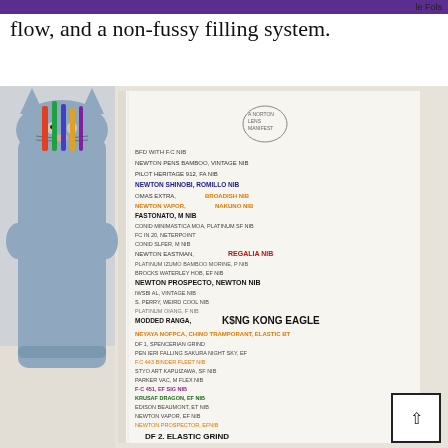le Fols
flow, and a non-fussy filling system.
[Figure (photo): A blue-gray cat-shaped pen holder sitting on a white surface next to an open notebook filled with handwritten fountain pen notes listing various pens and nibs in multiple colors.]